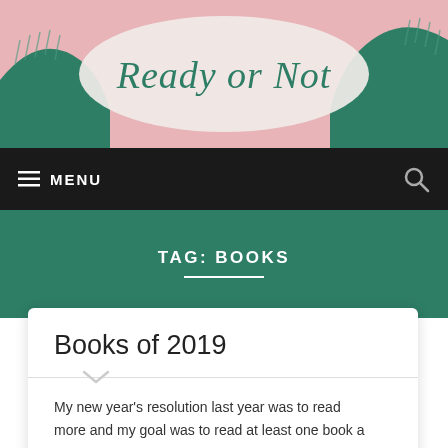[Figure (illustration): Blog header illustration with pink background, teal/dark green mountain shapes with rain-like hatching patterns, and a light oval/cloud shape in the center containing the cursive text 'Ready or Not']
Ready or Not
MENU  [search icon]
TAG: BOOKS
Books of 2019
My new year's resolution last year was to read more and my goal was to read at least one book a